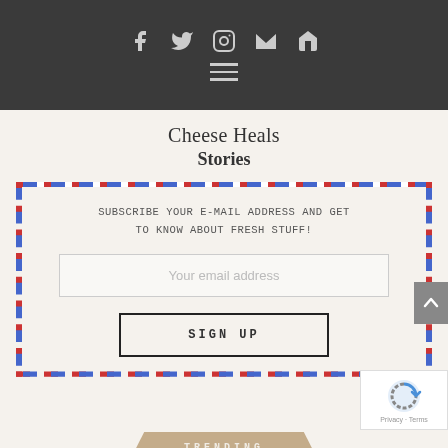Social icons: Facebook, Twitter, Instagram, Email, Home | Hamburger menu
Cheese Heals
Stories
[Figure (infographic): Email subscription box styled as an airmail envelope with red and blue dashed border. Contains text: SUBSCRIBE YOUR E-MAIL ADDRESS AND GET TO KNOW ABOUT FRESH STUFF! An email input field with placeholder 'Your email address' and a SIGN UP button with black border.]
TRENDING